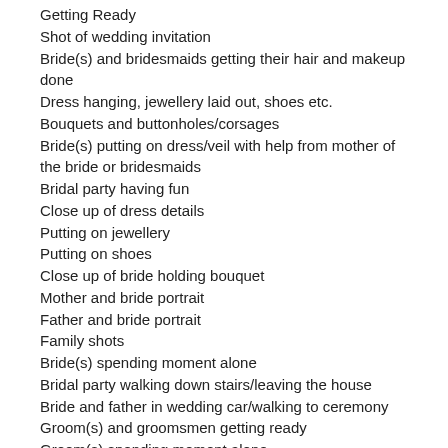Getting Ready
Shot of wedding invitation
Bride(s) and bridesmaids getting their hair and makeup done
Dress hanging, jewellery laid out, shoes etc.
Bouquets and buttonholes/corsages
Bride(s) putting on dress/veil with help from mother of the bride or bridesmaids
Bridal party having fun
Close up of dress details
Putting on jewellery
Putting on shoes
Close up of bride holding bouquet
Mother and bride portrait
Father and bride portrait
Family shots
Bride(s) spending moment alone
Bridal party walking down stairs/leaving the house
Bride and father in wedding car/walking to ceremony
Groom(s) and groomsmen getting ready
Groom(s) spending moment alone
Wedding ring shots
First Look
The Trip to the Ceremony/Venue